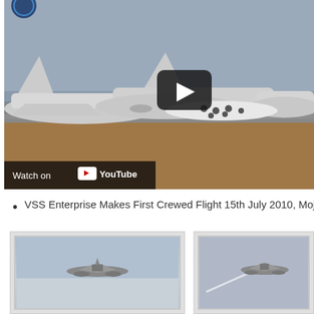[Figure (screenshot): YouTube video thumbnail showing airplanes parked on a desert tarmac at Mojave Air. A large play button is visible in the center-right. A 'Watch on YouTube' bar is at the bottom left.]
VSS Enterprise Makes First Crewed Flight 15th July 2010, Mojave A
[Figure (photo): Photo of VSS Enterprise aircraft in flight against a blue/grey sky, viewed from below-side angle.]
[Figure (photo): Photo of VSS Enterprise aircraft in flight with contrail visible, viewed from a different angle.]